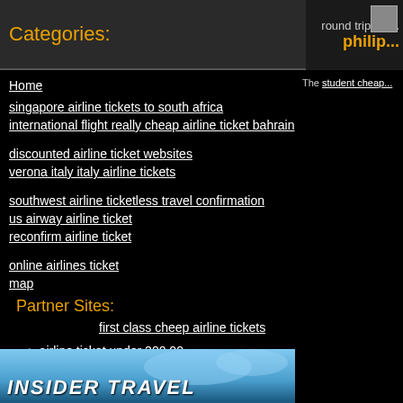Categories:
round trip airl... philip...
Home
singapore airline tickets to south africa
international flight really cheap airline ticket bahrain
discounted airline ticket websites
verona italy italy airline tickets
southwest airline ticketless travel confirmation
us airway airline ticket
reconfirm airline ticket
online airlines ticket
map
Partner Sites:
first class cheep airline tickets
airline ticket under 200.00
The student cheap...
[Figure (photo): Travel banner image with sky background and text INSIDER TRAVEL]